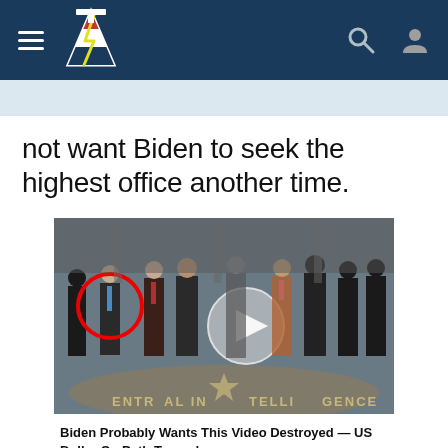Navigation bar with hamburger menu, logo, search and user icons
not want Biden to seek the highest office another time.
[Figure (screenshot): Video thumbnail showing a group of men in suits standing in the CIA lobby with a red circle highlighting one person and a play button overlay.]
Biden Probably Wants This Video Destroyed — US Dollar On Path Towards